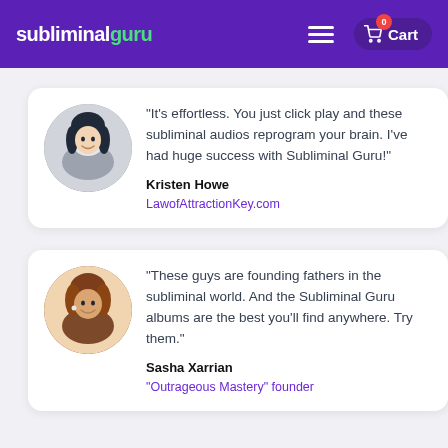subliminal guru — Cart
“It’s effortless. You just click play and these subliminal audios reprogram your brain. I’ve had huge success with Subliminal Guru!”
Kristen Howe
LawofAttractionKey.com
“These guys are founding fathers in the subliminal world. And the Subliminal Guru albums are the best you’ll find anywhere. Try them.”
Sasha Xarrian
“Outrageous Mastery” founder